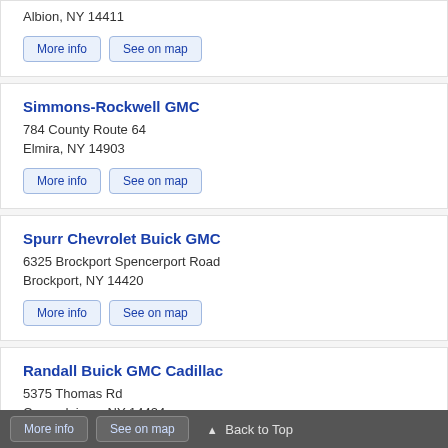4040 Salt Orchard Rd
Albion, NY 14411
More info | See on map
Simmons-Rockwell GMC
784 County Route 64
Elmira, NY 14903
More info | See on map
Spurr Chevrolet Buick GMC
6325 Brockport Spencerport Road
Brockport, NY 14420
More info | See on map
Randall Buick GMC Cadillac
5375 Thomas Rd
Canandaigua, NY 14424
More info  See on map  ▲ Back to Top